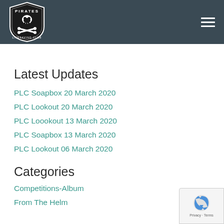[Figure (logo): Pirates Lifesaving Club shield logo with skull and crossbones, white on black, on dark teal/slate header bar]
Latest Updates
PLC Soapbox 20 March 2020
PLC Lookout 20 March 2020
PLC Loookout 13 March 2020
PLC Soapbox 13 March 2020
PLC Lookout 06 March 2020
Categories
Competitions-Album
From The Helm